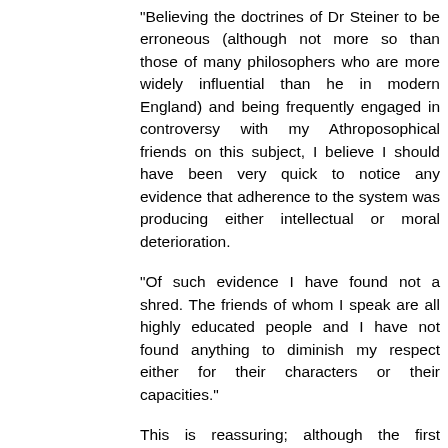"Believing the doctrines of Dr Steiner to be erroneous (although not more so than those of many philosophers who are more widely influential than he in modern England) and being frequently engaged in controversy with my Athroposophical friends on this subject, I believe I should have been very quick to notice any evidence that adherence to the system was producing either intellectual or moral deterioration.
"Of such evidence I have found not a shred. The friends of whom I speak are all highly educated people and I have not found anything to diminish my respect either for their characters or their capacities."
This is reassuring; although the first generation adherents to a new religion were always - by definition - formed in another religion; and so it would be interesting to compare what happened with the second generation onwards.
My vague impression us that Anthroposophy was fairly quickly corrupted by secular Leftism - at least that is how the people I knew seemed to me - just assimilated as a variety of New Age spirituality...